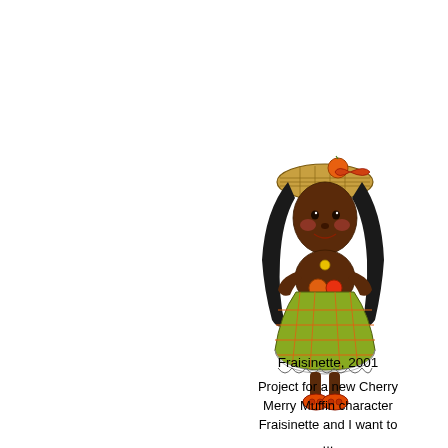[Figure (illustration): A colorful illustrated character of a young dark-skinned girl wearing a wide-brimmed plaid hat with an orange fruit on top, long dark curly hair, a green and orange plaid dress with white lacy hem, holding fruit, and wearing orange shoes.]
Fraisinette, 2001

Project for a new Cherry Merry Muffin character Fraisinette and I want to...